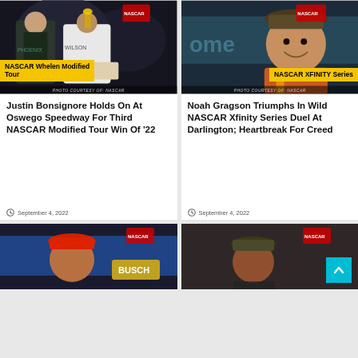[Figure (photo): Two people posing with trophy at Oswego Speedway, NASCAR Whelen Modified Tour]
NASCAR Whelen Modified Tour
Justin Bonsignore Holds On At Oswego Speedway For Third NASCAR Modified Tour Win Of '22
September 4, 2022
[Figure (photo): NASCAR XFINITY Series driver smiling, NASCAR XFINITY Series]
NASCAR XFINITY Series
Noah Gragson Triumphs In Wild NASCAR Xfinity Series Duel At Darlington; Heartbreak For Creed
September 4, 2022
[Figure (photo): Partial view of NASCAR driver with red cap, bottom card left]
[Figure (photo): Partial view of NASCAR driver, bottom card right]